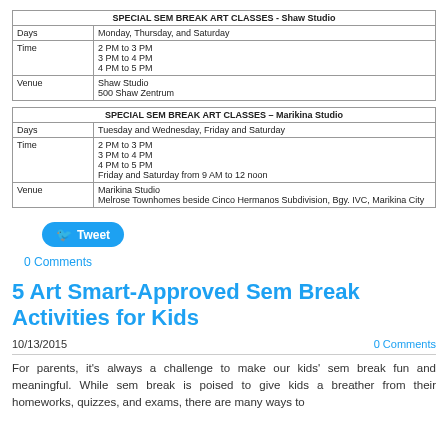| SPECIAL SEM BREAK ART CLASSES - Shaw Studio |
| --- |
| Days | Monday, Thursday, and Saturday |
| Time | 2 PM to 3 PM
3 PM to 4 PM
4 PM to 5 PM |
| Venue | Shaw Studio
500 Shaw Zentrum |
| SPECIAL SEM BREAK ART CLASSES – Marikina Studio |
| --- |
| Days | Tuesday and Wednesday, Friday and Saturday |
| Time | 2 PM to 3 PM
3 PM to 4 PM
4 PM to 5 PM
Friday and Saturday from 9 AM to 12 noon |
| Venue | Marikina Studio
Melrose Townhomes beside Cinco Hermanos Subdivision, Bgy. IVC, Marikina City |
[Figure (other): Tweet button (Twitter share button)]
0 Comments
5 Art Smart-Approved Sem Break Activities for Kids
10/13/2015
0 Comments
For parents, it's always a challenge to make our kids' sem break fun and meaningful. While sem break is poised to give kids a breather from their homeworks, quizzes, and exams, there are many ways to